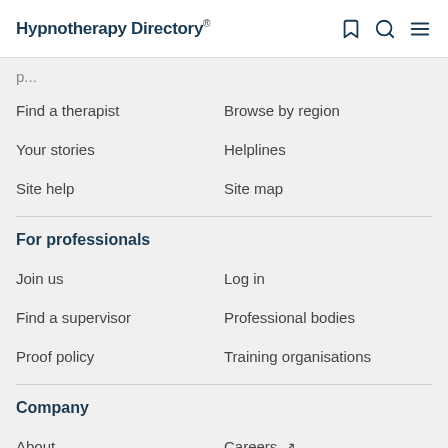Hypnotherapy Directory
Find a therapist
Browse by region
Your stories
Helplines
Site help
Site map
For professionals
Join us
Log in
Find a supervisor
Professional bodies
Proof policy
Training organisations
Company
About
Careers
Contact
Cookies policy